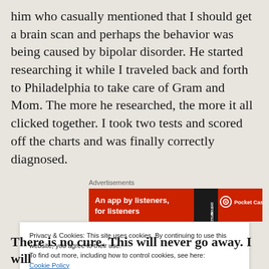him who casually mentioned that I should get a brain scan and perhaps the behavior was being caused by bipolar disorder. He started researching it while I traveled back and forth to Philadelphia to take care of Gram and Mom. The more he researched, the more it all clicked together. I took two tests and scored off the charts and was finally correctly diagnosed.
Advertisements
[Figure (other): An advertisement banner for Pocket Casts app with red background, text 'An app by listeners, for listeners' and Pocket Casts logo]
Privacy & Cookies: This site uses cookies. By continuing to use this website, you agree to their use.
To find out more, including how to control cookies, see here: Cookie Policy
There is no cure. This will never go away. I will